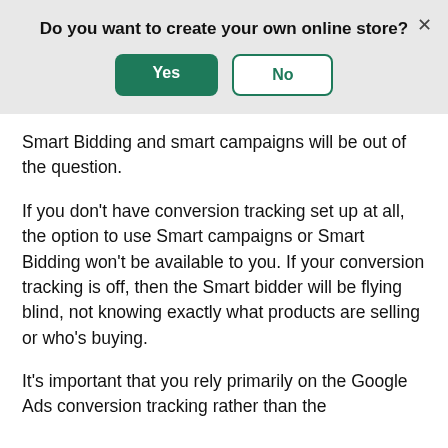Do you want to create your own online store?
[Figure (screenshot): Dialog box with Yes (green filled button) and No (green outlined button) options, and an X close button in the top right corner.]
Smart Bidding and smart campaigns will be out of the question.
If you don't have conversion tracking set up at all, the option to use Smart campaigns or Smart Bidding won't be available to you. If your conversion tracking is off, then the Smart bidder will be flying blind, not knowing exactly what products are selling or who's buying.
It's important that you rely primarily on the Google Ads conversion tracking rather than the